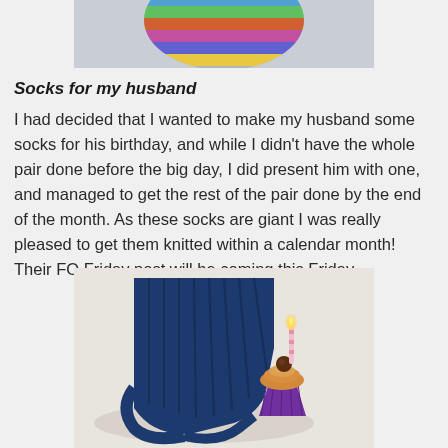[Figure (photo): Partial top view of colorful knitted socks against a light grey/blue background]
Socks for my husband
I had decided that I wanted to make my husband some socks for his birthday, and while I didn't have the whole pair done before the big day, I did present him with one, and managed to get the rest of the pair done by the end of the month. As these socks are giant I was really pleased to get them knitted within a calendar month! Their FO Friday post will be coming this Friday.
[Figure (photo): A dark navy blue knitted sock laid flat on a white surface next to a small cupcake with orange frosting, a lit birthday candle, and a chocolate ball on top, in a purple wrapper]